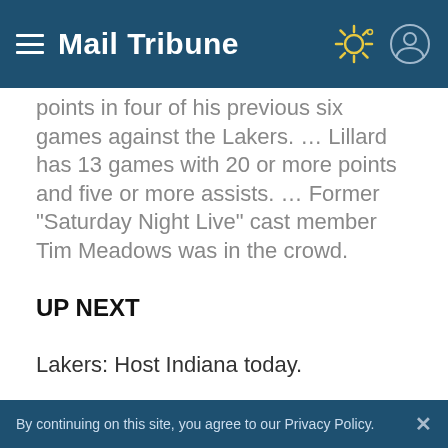Mail Tribune
points in four of his previous six games against the Lakers. … Lillard has 13 games with 20 or more points and five or more assists. … Former "Saturday Night Live" cast member Tim Meadows was in the crowd.
UP NEXT
Lakers: Host Indiana today.
Trail Blazers: Visit the Clippers on Monday.
By continuing on this site, you agree to our Privacy Policy.